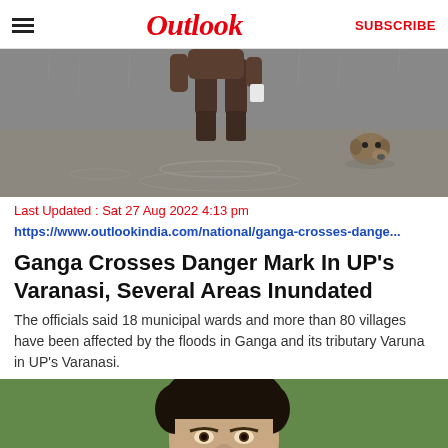Outlook  SUBSCRIBE
[Figure (photo): A person wading through floodwater with a small dog partially submerged nearby, taken from behind]
Last Updated : Sat 27 Aug 2022 4:13 pm
https://www.outlookindia.com/national/ganga-crosses-dange...
Ganga Crosses Danger Mark In UP's Varanasi, Several Areas Inundated
The officials said 18 municipal wards and more than 80 villages have been affected by the floods in Ganga and its tributary Varuna in UP's Varanasi.
[Figure (photo): Close-up portrait of a person with curly dark hair]